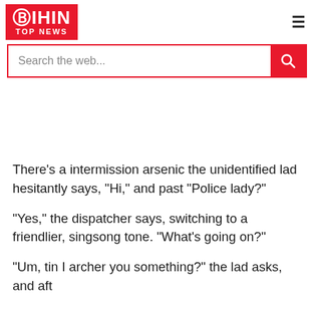DIHIN TOP NEWS
Search the web...
There’s a intermission arsenic the unidentified lad hesitantly says, “Hi,” and past “Police lady?”
“Yes,” the dispatcher says, switching to a friendlier, singsong tone. “What’s going on?”
“Um, tin I archer you something?” the lad asks, and aft helium told helium says, “Im not is aft to say of”